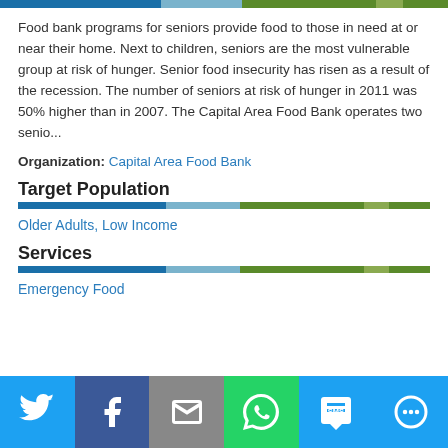[Figure (infographic): Colored segmented horizontal bar at top of page in blue, light blue, green, and olive tones]
Food bank programs for seniors provide food to those in need at or near their home. Next to children, seniors are the most vulnerable group at risk of hunger. Senior food insecurity has risen as a result of the recession. The number of seniors at risk of hunger in 2011 was 50% higher than in 2007. The Capital Area Food Bank operates two senio...
Organization: Capital Area Food Bank
Target Population
[Figure (infographic): Colored segmented horizontal divider bar in blue, light blue, green, and olive tones]
Older Adults, Low Income
Services
[Figure (infographic): Colored segmented horizontal divider bar in blue, light blue, green, and olive tones]
Emergency Food
[Figure (infographic): Social sharing footer bar with Twitter, Facebook, Email, WhatsApp, SMS, and More buttons]